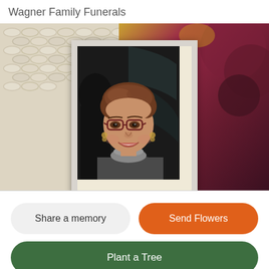Wagner Family Funerals
[Figure (photo): Banner with woven white texture on left, gold/burgundy decorative fabric on right, and a framed portrait photo in center of an older woman with short brown hair and glasses, smiling]
Share a memory
Send Flowers
Plant a Tree